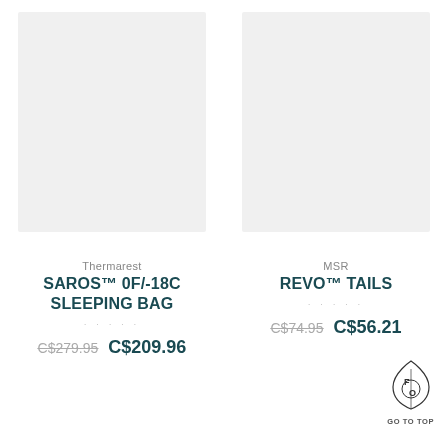[Figure (photo): Product image placeholder for Thermarest sleeping bag (light gray box)]
[Figure (photo): Product image placeholder for MSR Revo Tails (light gray box)]
Thermarest
SAROS™ 0F/-18C SLEEPING BAG
· · · · ·
C$279.95  C$209.96
MSR
REVO™ TAILS
· · · · ·
C$74.95  C$56.21
[Figure (logo): FO brand logo — leaf/teardrop shape with FO letters and circle inside]
GO TO TOP